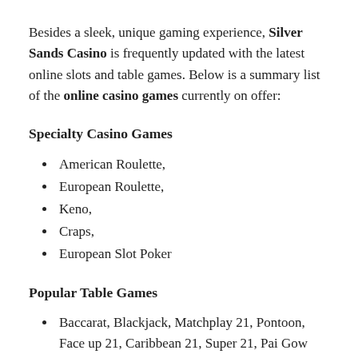Besides a sleek, unique gaming experience, Silver Sands Casino is frequently updated with the latest online slots and table games. Below is a summary list of the online casino games currently on offer:
Specialty Casino Games
American Roulette,
European Roulette,
Keno,
Craps,
European Slot Poker
Popular Table Games
Baccarat, Blackjack, Matchplay 21, Pontoon, Face up 21, Caribbean 21, Super 21, Pai Gow